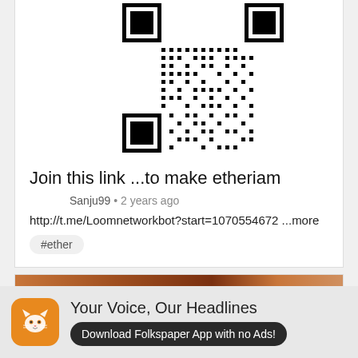[Figure (other): QR code image linking to a Telegram bot URL]
Join this link ...to make etheriam
Sanju99  •  2 years ago
http://t.me/Loomnetworkbot?start=1070554672 ...more
#ether
[Figure (photo): Partial image visible at bottom of second card]
Your Voice, Our Headlines
Download Folkspaper App with no Ads!